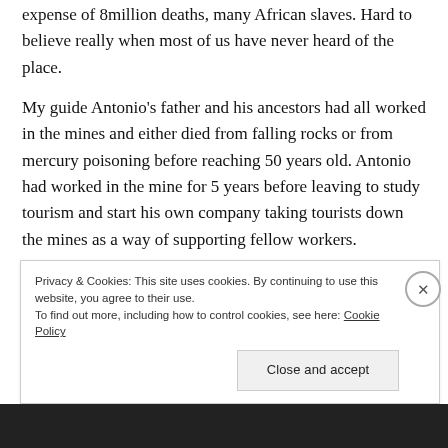expense of 8million deaths, many African slaves. Hard to believe really when most of us have never heard of the place.
My guide Antonio's father and his ancestors had all worked in the mines and either died from falling rocks or from mercury poisoning before reaching 50 years old. Antonio had worked in the mine for 5 years before leaving to study tourism and start his own company taking tourists down the mines as a way of supporting fellow workers.
Privacy & Cookies: This site uses cookies. By continuing to use this website, you agree to their use.
To find out more, including how to control cookies, see here: Cookie Policy
Close and accept